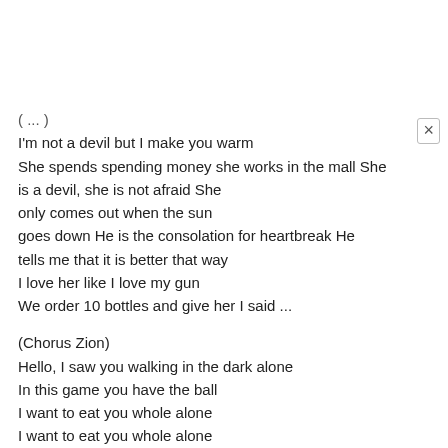(...) I'm not a devil but I make you warm She spends spending money she works in the mall She is a devil, she is not afraid She only comes out when the sun goes down He is the consolation for heartbreak He tells me that it is better that way I love her like I love my gun We order 10 bottles and give her I said ...
(Chorus Zion) Hello, I saw you walking in the dark alone In this game you have the ball I want to eat you whole alone I want to eat you whole alone
(Chorus Lennox) I never forgot the first time that I got to eat you